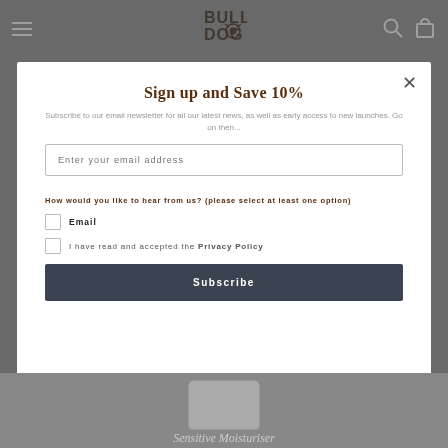[Figure (screenshot): Bulldog skincare website screenshot with modal popup overlay. Header shows hamburger menu on left, Bulldog logo in center, search and cart icons on right. Background is grey showing a product container. Modal popup contains a newsletter signup form with title, subtitle, email input, checkboxes, and subscribe button.]
Sign up and Save 10%
Subscribe to our email newsletter for all our latest news, as well as early access to new launches. Go on then...
How would you like to hear from us? (please select at least one option)
Email
I have read and accepted the Privacy Policy
Subscribe